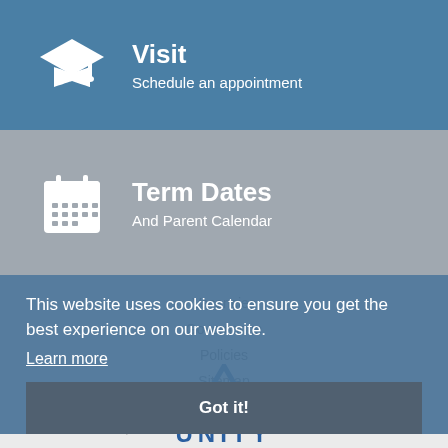Visit
Schedule an appointment
Term Dates
And Parent Calendar
Vacancies
Governance
Policies
Sitemap
Thomas Gainsborough School, Wells Hall Road, Great Cornard, Suffolk, CO10 0NH. Telephone No 01787 375232
This website uses cookies to ensure you get the best experience on our website.
Learn more
Got it!
[Figure (logo): Unity logo with triangle icon and UNITY text in blue]